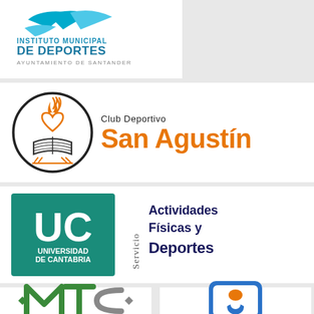[Figure (logo): Instituto Municipal de Deportes, Ayuntamiento de Santander logo with blue swoosh/bird graphic]
[Figure (logo): Club Deportivo San Agustín logo with circular emblem showing heart with flame and book, orange text]
[Figure (logo): Universidad de Cantabria UC logo with teal square and Servicio Actividades Físicas y Deportes text]
[Figure (logo): MTC logo in green and grey]
[Figure (logo): Blue rounded square logo with abstract figures]